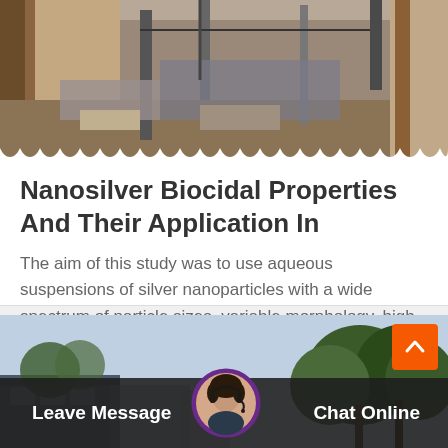[Figure (photo): Construction site photo showing building materials, scaffolding, and construction equipment]
Nanosilver Biocidal Properties And Their Application In
The aim of this study was to use aqueous suspensions of silver nanoparticles with a wide spectrum of particle sizes, variable morphology, high stability, and…
[Figure (photo): Outdoor photo showing trees against a light blue sky with some structures in the background]
Leave Message
Chat Online